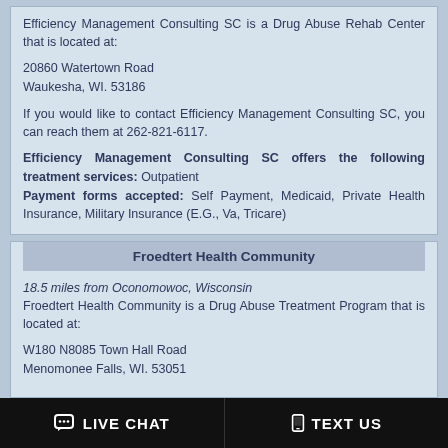Efficiency Management Consulting SC is a Drug Abuse Rehab Center that is located at:
20860 Watertown Road
Waukesha, WI. 53186
If you would like to contact Efficiency Management Consulting SC, you can reach them at 262-821-6117.
Efficiency Management Consulting SC offers the following treatment services: Outpatient
Payment forms accepted: Self Payment, Medicaid, Private Health Insurance, Military Insurance (E.G., Va, Tricare)
Froedtert Health Community
18.5 miles from Oconomowoc, Wisconsin
Froedtert Health Community is a Drug Abuse Treatment Program that is located at:
W180 N8085 Town Hall Road
Menomonee Falls, WI. 53051
LIVE CHAT   TEXT US